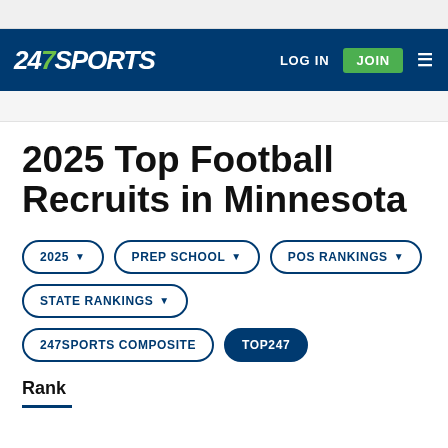247 SPORTS | LOG IN | JOIN
2025 Top Football Recruits in Minnesota
2025 ▼
PREP SCHOOL ▼
POS RANKINGS ▼
STATE RANKINGS ▼
247SPORTS COMPOSITE
TOP247
Rank